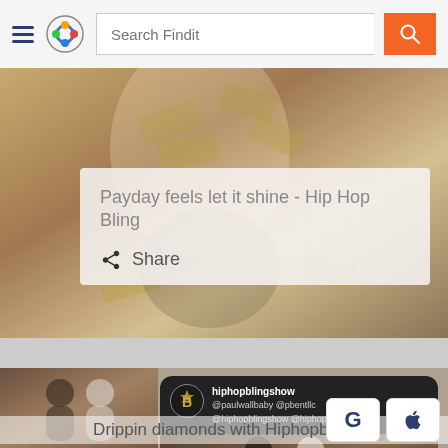[Figure (screenshot): App header with hamburger menu, Findit logo (colorful circular icon), search bar with placeholder 'Search Findit', and orange search button with magnifying glass icon]
[Figure (photo): Hero image showing a person with blonde hair surrounded by scattered money bills in a luxurious setting]
Payday feels let it shine - Hip Hop Bling
Share
[Figure (screenshot): Instagram-style post card showing hiphopblingshow account with handles @paulwallbaby @pbentllc @hiphopblingshow @hiphopblingtv, and a photo of two men posing together]
Drippin diamonds with Hiphopbling
[Figure (other): Google sign-in button showing capital G letter]
[Figure (other): Apple sign-in button showing Apple logo]